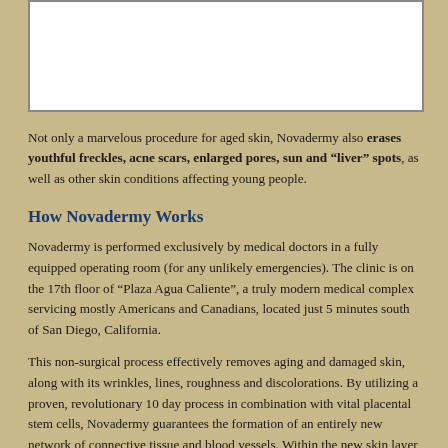[Figure (photo): White rectangular image placeholder at the top of the page]
Not only a marvelous procedure for aged skin, Novadermy also erases youthful freckles, acne scars, enlarged pores, sun and "liver" spots, as well as other skin conditions affecting young people.
How Novadermy Works
Novadermy is performed exclusively by medical doctors in a fully equipped operating room (for any unlikely emergencies). The clinic is on the 17th floor of “Plaza Agua Caliente”, a truly modern medical complex servicing mostly Americans and Canadians, located just 5 minutes south of San Diego, California.
This non-surgical process effectively removes aging and damaged skin, along with its wrinkles, lines, roughness and discolorations. By utilizing a proven, revolutionary 10 day process in combination with vital placental stem cells, Novadermy guarantees the formation of an entirely new network of connective tissue and blood vessels. Within the new skin layer there is an abundant regeneration of elastin and distribution of new collagen bundles. These combine with newly formed blood vessels to ensure a continuous, life-giving blood supply that will make you look years younger for the rest of your life.
Novadermy is not to be confused with highly advertised cosmetic